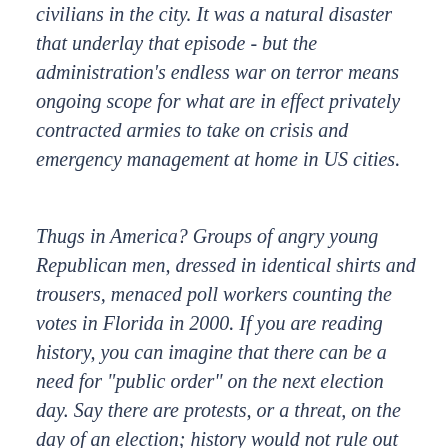civilians in the city. It was a natural disaster that underlay that episode - but the administration's endless war on terror means ongoing scope for what are in effect privately contracted armies to take on crisis and emergency management at home in US cities.
Thugs in America? Groups of angry young Republican men, dressed in identical shirts and trousers, menaced poll workers counting the votes in Florida in 2000. If you are reading history, you can imagine that there can be a need for "public order" on the next election day. Say there are protests, or a threat, on the day of an election; history would not rule out the presence of a private security firm at a